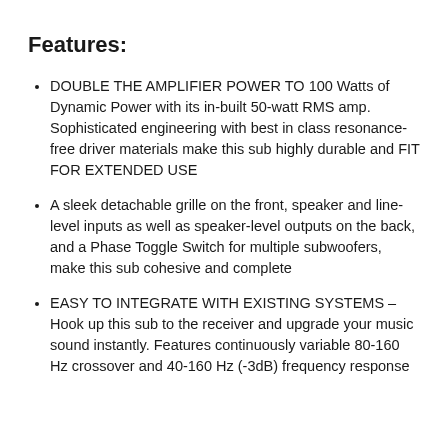Features:
DOUBLE THE AMPLIFIER POWER TO 100 Watts of Dynamic Power with its in-built 50-watt RMS amp. Sophisticated engineering with best in class resonance-free driver materials make this sub highly durable and FIT FOR EXTENDED USE
A sleek detachable grille on the front, speaker and line-level inputs as well as speaker-level outputs on the back, and a Phase Toggle Switch for multiple subwoofers, make this sub cohesive and complete
EASY TO INTEGRATE WITH EXISTING SYSTEMS – Hook up this sub to the receiver and upgrade your music sound instantly. Features continuously variable 80-160 Hz crossover and 40-160 Hz (-3dB) frequency response